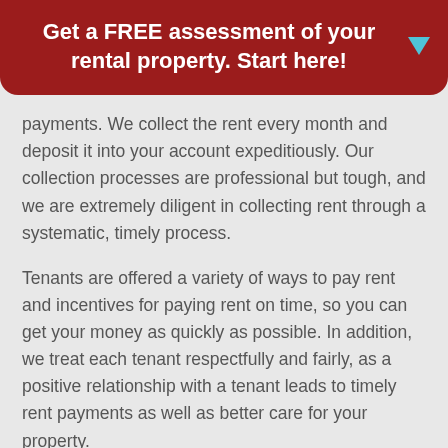Get a FREE assessment of your rental property. Start here!
payments. We collect the rent every month and deposit it into your account expeditiously. Our collection processes are professional but tough, and we are extremely diligent in collecting rent through a systematic, timely process.
Tenants are offered a variety of ways to pay rent and incentives for paying rent on time, so you can get your money as quickly as possible. In addition, we treat each tenant respectfully and fairly, as a positive relationship with a tenant leads to timely rent payments as well as better care for your property.
[Figure (illustration): Red circular icon with a white document/contract image at the bottom of the page, partially visible]